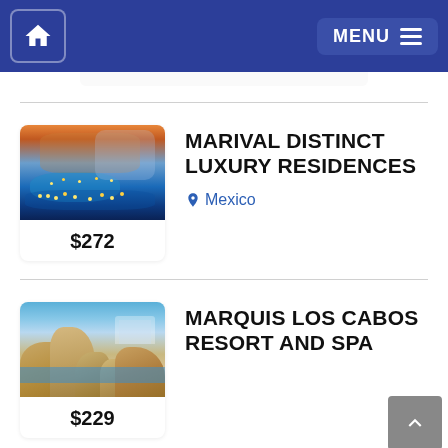Navigation bar with home icon and MENU button
[Figure (photo): Aerial view of Marival Distinct Luxury Residences resort at dusk with pools and lights]
$272
MARIVAL DISTINCT LUXURY RESIDENCES
Mexico
[Figure (photo): Marquis Los Cabos Resort and Spa with rocky desert landscape and blue sky]
$229
MARQUIS LOS CABOS RESORT AND SPA